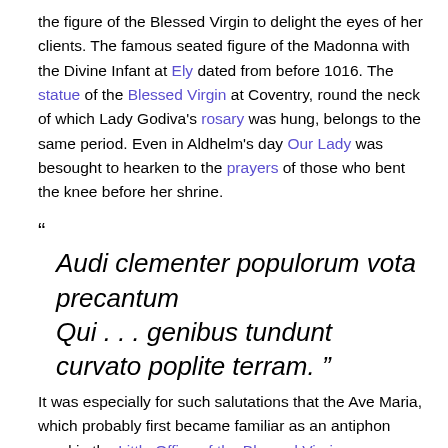the figure of the Blessed Virgin to delight the eyes of her clients. The famous seated figure of the Madonna with the Divine Infant at Ely dated from before 1016. The statue of the Blessed Virgin at Coventry, round the neck of which Lady Godiva's rosary was hung, belongs to the same period. Even in Aldhelm's day Our Lady was besought to hearken to the prayers of those who bent the knee before her shrine.
“ Audi clementer populorum vota precantum Qui . . . genibus tundunt curvato poplite terram. ”
It was especially for such salutations that the Ave Maria, which probably first became familiar as an antiphon used in the Little Office of the Blessed Virgin, won popular favour with all classes.